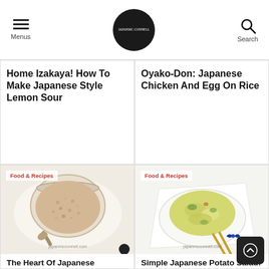Menus | japanmcconnell.com | Search
Home Izakaya! How To Make Japanese Style Lemon Sour
Oyako-Don: Japanese Chicken And Egg On Rice
[Figure (photo): A glass jar of koji rice (shio-koji) with a spoon, Food & Recipes badge, watermark japanmcconnell.com]
The Heart Of Japanese Fermented Food, Koji Rice| How To Make Shio-Koji
[Figure (photo): A white square plate with Japanese potato salad using Kewpie mayo and chopsticks, Food & Recipes badge, watermark japanmcconnell.com]
Simple Japanese Potato Salad: Traditional Japanese Recipe With Kewpie Mayo